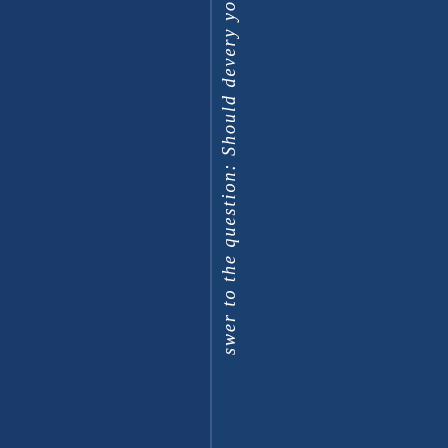[Figure (other): Dark blue background page with a vertical spine/divider and rotated italic text reading 'swer to the question: Should devery yo' (partial text visible from a book spine or cover page)]
swer to the question: Should devery yo